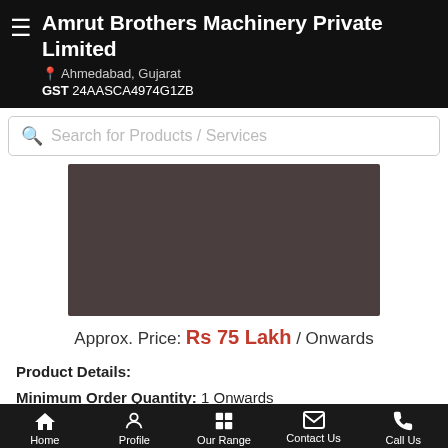Amrut Brothers Machinery Private Limited
Ahmedabad, Gujarat
GST 24AASCA4974G1ZB
Search for Products / Services
[Figure (photo): Dark brownish-grey product image placeholder box]
Approx. Price: Rs 75 Lakh / Onwards
Product Details:
Minimum Order Quantity: 1 Onwards
Brand: ...more
Call Us
Get Details
Home  Profile  Our Range  Contact Us  Call Us